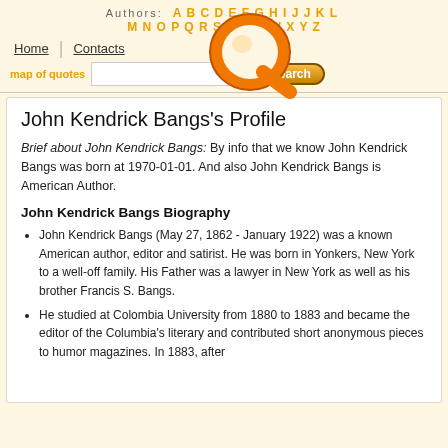Authors: A B C D E F G H I J K L M N O P Q R S T U W W X Y Z
Home | Contacts | map of quotes | search
John Kendrick Bangs's Profile
Brief about John Kendrick Bangs: By info that we know John Kendrick Bangs was born at 1970-01-01. And also John Kendrick Bangs is American Author.
John Kendrick Bangs Biography
John Kendrick Bangs (May 27, 1862 - January 1922) was a known American author, editor and satirist. He was born in Yonkers, New York to a well-off family. His Father was a lawyer in New York as well as his brother Francis S. Bangs.
He studied at Colombia University from 1880 to 1883 and became the editor of the Columbia's literary and contributed short anonymous pieces to humor magazines. In 1883, after